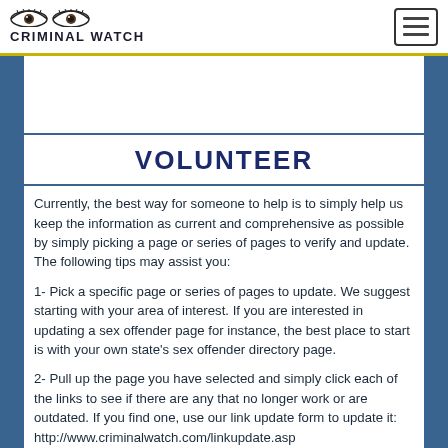CRIMINAL WATCH
VOLUNTEER
Currently, the best way for someone to help is to simply help us keep the information as current and comprehensive as possible by simply picking a page or series of pages to verify and update. The following tips may assist you:
1- Pick a specific page or series of pages to update. We suggest starting with your area of interest. If you are interested in updating a sex offender page for instance, the best place to start is with your own state's sex offender directory page.
2- Pull up the page you have selected and simply click each of the links to see if there are any that no longer work or are outdated. If you find one, use our link update form to update it: http://www.criminalwatch.com/linkupdate.asp